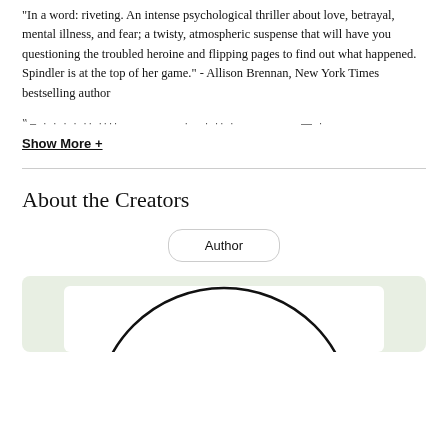"In a word: riveting. An intense psychological thriller about love, betrayal, mental illness, and fear; a twisty, atmospheric suspense that will have you questioning the troubled heroine and flipping pages to find out what happened. Spindler is at the top of her game." - Allison Brennan, New York Times bestselling author
... (redacted/blurred line)
Show More +
About the Creators
Author
[Figure (illustration): Green background card with a white inner card showing the top of a circular author portrait photo (only the arc of the head/top is visible, cropped at bottom)]